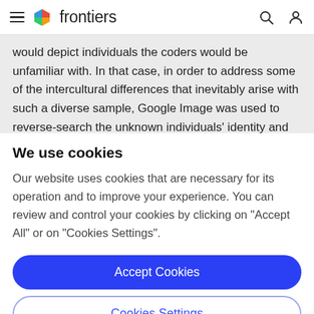frontiers
would depict individuals the coders would be unfamiliar with. In that case, in order to address some of the intercultural differences that inevitably arise with such a diverse sample, Google Image was used to reverse-search the unknown individuals' identity and obtain a
We use cookies
Our website uses cookies that are necessary for its operation and to improve your experience. You can review and control your cookies by clicking on "Accept All" or on "Cookies Settings".
Accept Cookies
Cookies Settings